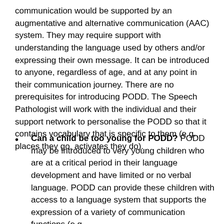communication would be supported by an augmentative and alternative communication (AAC) system. They may require support with understanding the language used by others and/or expressing their own message. It can be introduced to anyone, regardless of age, and at any point in their communication journey. There are no prerequisites for introducing PODD. The Speech Pathologist will work with the individual and their support network to personalise the PODD so that it contains vocabulary that is specific to them (e.g., places they go, activates they do).
Can a child be too young for PODD? PODD may be introduced to very young children who are at a critical period in their language development and have limited or no verbal language. PODD can provide these children with access to a language system that supports the expression of a variety of communication functions (e.g.